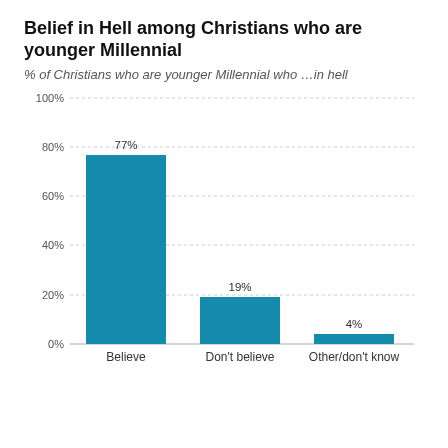Belief in Hell among Christians who are younger Millennial
% of Christians who are younger Millennial who …in hell
[Figure (bar-chart): Belief in Hell among Christians who are younger Millennial]